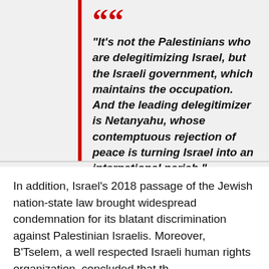“It’s not the Palestinians who are delegitimizing Israel, but the Israeli government, which maintains the occupation. And the leading delegitimizer is Netanyahu, whose contemptuous rejection of peace is turning Israel into an international pariah.”
In addition, Israel’s 2018 passage of the Jewish nation-state law brought widespread condemnation for its blatant discrimination against Palestinian Israelis. Moreover, B’Tselem, a well respected Israeli human rights organization, concluded that th...